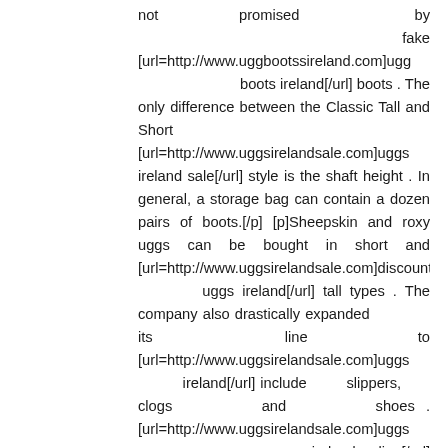not promised by fake [url=http://www.uggbootssireland.com]ugg boots ireland[/url] boots . The only difference between the Classic Tall and Short [url=http://www.uggsirelandsale.com]uggs ireland sale[/url] style is the shaft height . In general, a storage bag can contain a dozen pairs of boots.[/p][p]Sheepskin and roxy uggs can be bought in short and [url=http://www.uggsirelandsale.com]discount uggs ireland[/url] tall types . The company also drastically expanded its line to [url=http://www.uggsirelandsale.com]uggs ireland[/url] include slippers, clogs and shoes . [url=http://www.uggsirelandsale.com]uggs ireland online[/url] classiccardyuggs . Pairs of UGGs are found in almost every physical location and online store . Women's ugg boots and sheepskin boots come in colors from pink in addition to purple, to tan as well as brown, while men's come in the more neutral colors . These two styles point once have UGG 70% market share, while pushing the other style is mediocre, UGG according to the material, pattern attributes to re-introduce a similar style to another paragraph                                                    number